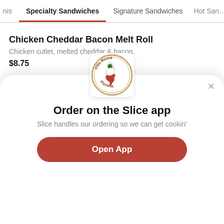nis | Specialty Sandwiches | Signature Sandwiches | Hot Sandwiches
Chicken Cheddar Bacon Melt Roll
Chicken cutlet, melted cheddar & bacon.
$8.75
Chicken California Roll
Breaded or grilled
$8.75
[Figure (logo): Villa Roma Pizzeria circular logo with Italian map in red and green]
Order on the Slice app
Slice handles our ordering so we can get cookin'
Open App